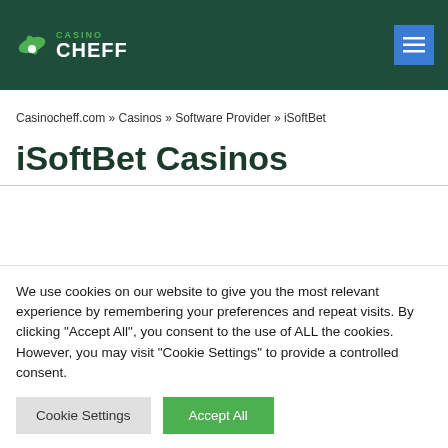Casino Cheff — navigation header with logo and menu button
Casinocheff.com » Casinos » Software Provider » iSoftBet
iSoftBet Casinos
We use cookies on our website to give you the most relevant experience by remembering your preferences and repeat visits. By clicking "Accept All", you consent to the use of ALL the cookies. However, you may visit "Cookie Settings" to provide a controlled consent.